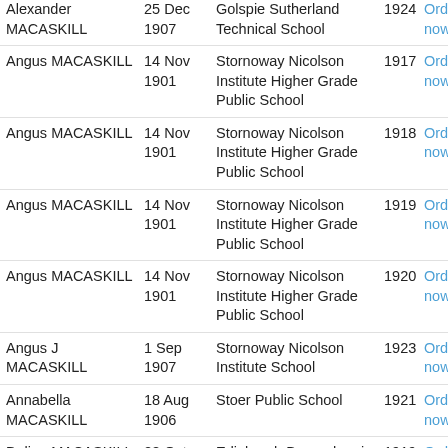| Name | DOB | School | Year | Order |
| --- | --- | --- | --- | --- |
| Alexander MACASKILL | 25 Dec 1907 | Golspie Sutherland Technical School | 1924 | Order now |
| Angus MACASKILL | 14 Nov 1901 | Stornoway Nicolson Institute Higher Grade Public School | 1917 | Order now |
| Angus MACASKILL | 14 Nov 1901 | Stornoway Nicolson Institute Higher Grade Public School | 1918 | Order now |
| Angus MACASKILL | 14 Nov 1901 | Stornoway Nicolson Institute Higher Grade Public School | 1919 | Order now |
| Angus MACASKILL | 14 Nov 1901 | Stornoway Nicolson Institute Higher Grade Public School | 1920 | Order now |
| Angus J MACASKILL | 1 Sep 1907 | Stornoway Nicolson Institute School | 1923 | Order now |
| Annabella MACASKILL | 18 Aug 1906 | Stoer Public School | 1921 | Order now |
| Dolina MACASKILL | 28 Oct 1903 | Edinburgh Boroughmuir HGPS | 1919 | Order now |